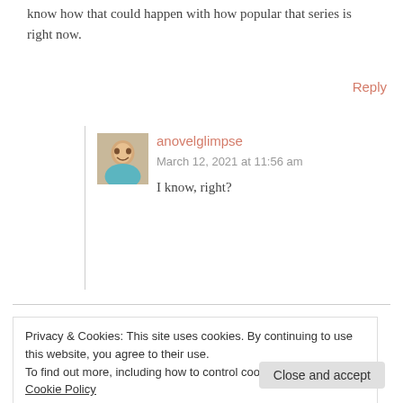know how that could happen with how popular that series is right now.
Reply
anovelglimpse
March 12, 2021 at 11:56 am
I know, right?
Privacy & Cookies: This site uses cookies. By continuing to use this website, you agree to their use.
To find out more, including how to control cookies, see here: Cookie Policy
Close and accept